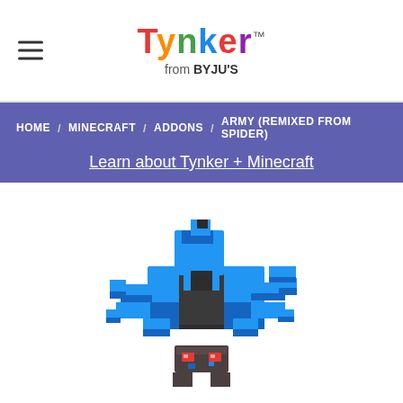[Figure (logo): Tynker logo with colorful letters and 'from BYJU'S' subtitle]
HOME / MINECRAFT / ADDONS / ARMY (REMIXED FROM SPIDER)
Learn about Tynker + Minecraft
[Figure (illustration): 3D blocky Minecraft-style blue spider creature with dark body segments and red eyes]